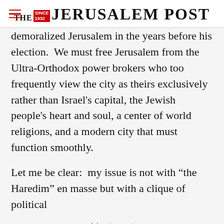THE JERUSALEM POST
demoralized Jerusalem in the years before his election.  We must free Jerusalem from the Ultra-Orthodox power brokers who too frequently view the city as theirs exclusively rather than Israel's capital, the Jewish people's heart and soul, a center of world religions, and a modern city that must function smoothly.
Let me be clear:  my issue is not with “the Haredim” en masse but with a clique of political
Advertisement